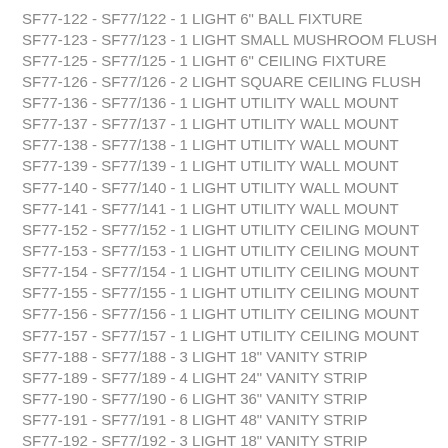SF77-122 - SF77/122 - 1 LIGHT 6" BALL FIXTURE
SF77-123 - SF77/123 - 1 LIGHT SMALL MUSHROOM FLUSH
SF77-125 - SF77/125 - 1 LIGHT 6" CEILING FIXTURE
SF77-126 - SF77/126 - 2 LIGHT SQUARE CEILING FLUSH
SF77-136 - SF77/136 - 1 LIGHT UTILITY WALL MOUNT
SF77-137 - SF77/137 - 1 LIGHT UTILITY WALL MOUNT
SF77-138 - SF77/138 - 1 LIGHT UTILITY WALL MOUNT
SF77-139 - SF77/139 - 1 LIGHT UTILITY WALL MOUNT
SF77-140 - SF77/140 - 1 LIGHT UTILITY WALL MOUNT
SF77-141 - SF77/141 - 1 LIGHT UTILITY WALL MOUNT
SF77-152 - SF77/152 - 1 LIGHT UTILITY CEILING MOUNT
SF77-153 - SF77/153 - 1 LIGHT UTILITY CEILING MOUNT
SF77-154 - SF77/154 - 1 LIGHT UTILITY CEILING MOUNT
SF77-155 - SF77/155 - 1 LIGHT UTILITY CEILING MOUNT
SF77-156 - SF77/156 - 1 LIGHT UTILITY CEILING MOUNT
SF77-157 - SF77/157 - 1 LIGHT UTILITY CEILING MOUNT
SF77-188 - SF77/188 - 3 LIGHT 18" VANITY STRIP
SF77-189 - SF77/189 - 4 LIGHT 24" VANITY STRIP
SF77-190 - SF77/190 - 6 LIGHT 36" VANITY STRIP
SF77-191 - SF77/191 - 8 LIGHT 48" VANITY STRIP
SF77-192 - SF77/192 - 3 LIGHT 18" VANITY STRIP
SF77-193 - SF77/193 - 4 LIGHT 24" VANITY STRIP
SF77-194 - SF77/194 - 6 LIGHT 36" VANITY STRIP
SF77-195 - SF77/195 - 8 LIGHT 48" VANITY STRIP